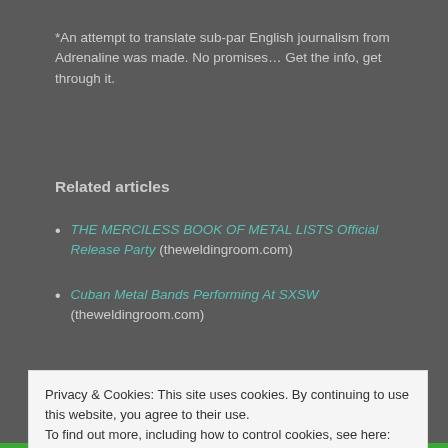*An attempt to translate sub-par English journalism from Adrenaline was made. No promises… Get the info, get through it.
Related articles
THE MERCILESS BOOK OF METAL LISTS Official Release Party (theweldingroom.com)
Cuban Metal Bands Performing At SXSW (theweldingroom.com)
Share this:
Privacy & Cookies: This site uses cookies. By continuing to use this website, you agree to their use. To find out more, including how to control cookies, see here: Cookie Policy
Close and accept